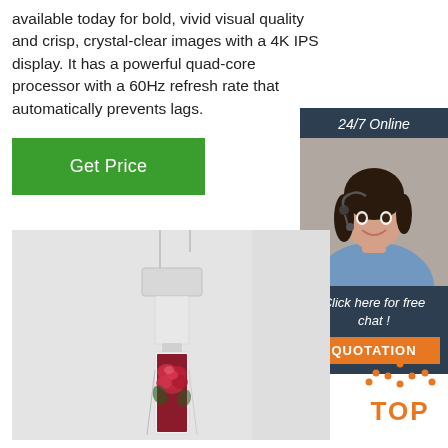available today for bold, vivid visual quality and crisp, crystal-clear images with a 4K IPS display. It has a powerful quad-core processor with a 60Hz refresh rate that automatically prevents lags.
[Figure (other): Green 'Get Price' button]
[Figure (other): Sidebar with '24/7 Online' banner, customer support agent photo, 'Click here for free chat!' text, and orange 'QUOTATION' button on dark navy background]
[Figure (photo): Product photo showing a ceiling-mounted narrow display panel/digital signage with a rose image on screen, white background]
[Figure (logo): TOP logo with orange dotted arc above bold orange 'TOP' text]